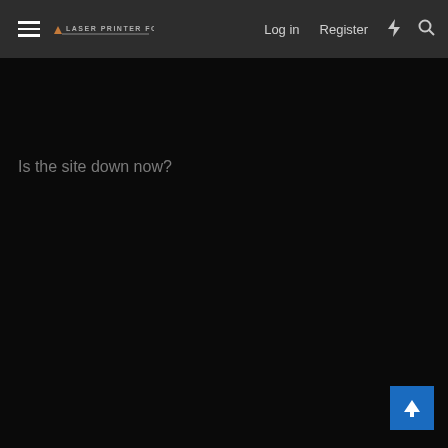Laser Printer Forums — Log in  Register
Is the site down now?
[Figure (other): Scroll-to-top button with upward arrow icon on blue background]